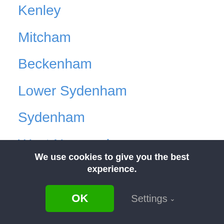Kenley
Mitcham
Beckenham
Lower Sydenham
Sydenham
West Norwood
Streatham
Whyteleafe
Warlingham
Furzedown
We use cookies to give you the best experience.
OK
Settings